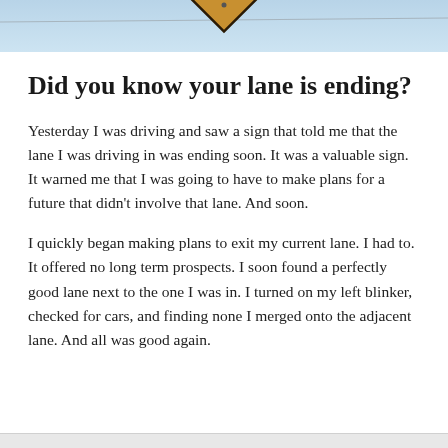[Figure (photo): Top strip showing a yellow diamond road sign against a light blue sky background with a wire line across.]
Did you know your lane is ending?
Yesterday I was driving and saw a sign that told me that the lane I was driving in was ending soon. It was a valuable sign. It warned me that I was going to have to make plans for a future that didn't involve that lane. And soon.
I quickly began making plans to exit my current lane. I had to. It offered no long term prospects. I soon found a perfectly good lane next to the one I was in. I turned on my left blinker, checked for cars, and finding none I merged onto the adjacent lane. And all was good again.